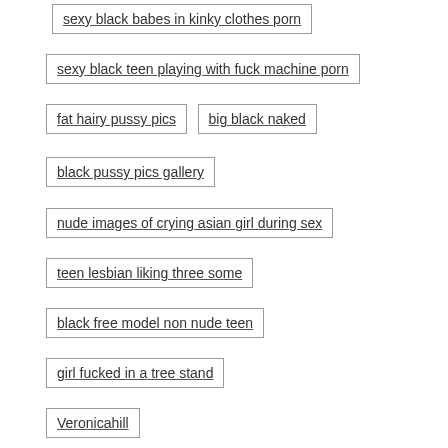sexy black babes in kinky clothes porn
sexy black teen playing with fuck machine porn
fat hairy pussy pics
big black naked
black pussy pics gallery
nude images of crying asian girl during sex
teen lesbian liking three some
black free model non nude teen
girl fucked in a tree stand
Veronicahill